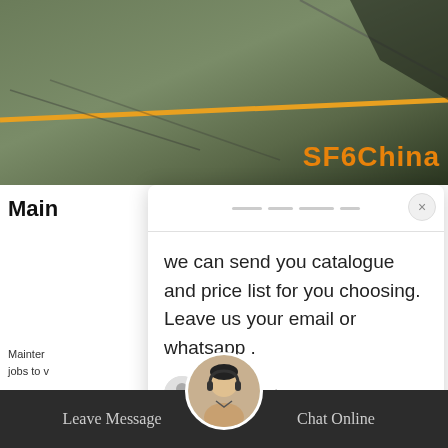[Figure (screenshot): Aerial photo background with SF6China watermark in orange, overlaid with a live chat popup widget. The popup shows a message: 'we can send you catalogue and price list for you choosing. Leave us your email or whatsapp .' from SF6 Expert. Below is a reply text box. At the bottom is a dark bar with 'Leave Message' and 'Chat Online' buttons, and a customer service avatar.]
we can send you catalogue and price list for you choosing. Leave us your email or whatsapp .
SF6 Expert
just now
Write a reply..
Main
kingdom. 21 jobs to
SF6China
Leave Message
Chat Online